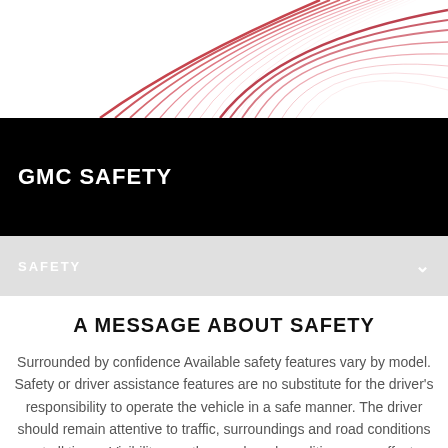[Figure (illustration): Abstract hero graphic with swooping pink/red curved lines on white background forming a dynamic design for GMC Safety section]
GMC SAFETY
SAFETY
A MESSAGE ABOUT SAFETY
Surrounded by confidence Available safety features vary by model. Safety or driver assistance features are no substitute for the driver's responsibility to operate the vehicle in a safe manner. The driver should remain attentive to traffic, surroundings and road conditions at all times. Visibility, weather, and road conditions may affect feature performance. Read the vehicle's Owner's Manual for more important feature limitations